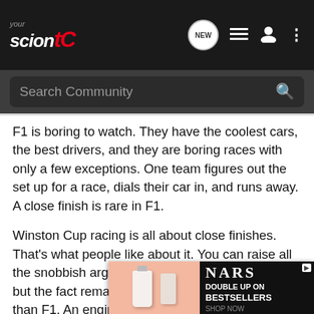[Figure (screenshot): YourScionTC community website navigation bar with logo and icons]
[Figure (screenshot): Search Community search bar on dark background]
F1 is boring to watch. They have the coolest cars, the best drivers, and they are boring races with only a few exceptions. One team figures out the set up for a race, dials their car in, and runs away. A close finish is rare in F1.
Winston Cup racing is all about close finishes. That's what people like about it. You can raise all the snobbish arguments about NASCAR you like, but the fact remains, they spend MORE on R&D than F1. An engine development program for NASCAR runs $40M a year. Cup cars bear no resemblance to street cars except a vague body shape. Everything in the series is designed to create close finishes, lots of lead changes, and a lot of ra...
[Figure (screenshot): NARS advertisement: DOUBLE UP ON BESTSELLERS SHOP NOW]